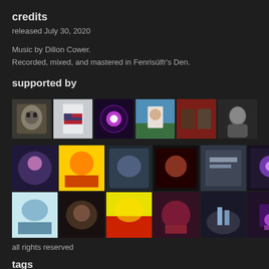credits
released July 30, 2020
Music by Dillon Cower.
Recorded, mixed, and mastered in Fenrisúlfr's Den.
supported by
[Figure (photo): Grid of supporter profile thumbnails and album art images, two rows: first row has 6 large square images (a skull/monster illustration, a white box with American flag design, a purple energy orb, a man in white t-shirt outdoors, two people in dark setting, a person in black and white); second row has smaller grouped images of album covers and profile photos.]
all rights reserved
tags
metal
concept
experimental
experimental metal